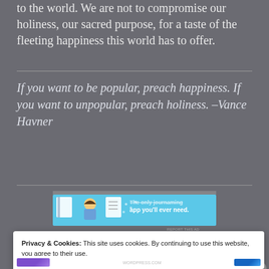to the world. We are not to compromise our holiness, our sacred purpose, for a taste of the fleeting happiness this world has to offer.
If you want to be popular, preach happiness. If you want to unpopular, preach holiness. –Vance Havner
[Figure (screenshot): Advertisement banner for a journaling app with blue background showing app icons and text 'The only journaling app you'll ever need.']
Privacy & Cookies: This site uses cookies. By continuing to use this website, you agree to their use.
To find out more, including how to control cookies, see here: Cookie Policy
Close and accept